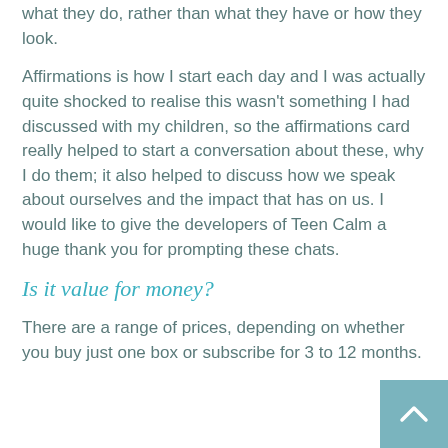what they do, rather than what they have or how they look.
Affirmations is how I start each day and I was actually quite shocked to realise this wasn't something I had discussed with my children, so the affirmations card really helped to start a conversation about these, why I do them; it also helped to discuss how we speak about ourselves and the impact that has on us. I would like to give the developers of Teen Calm a huge thank you for prompting these chats.
Is it value for money?
There are a range of prices, depending on whether you buy just one box or subscribe for 3 to 12 months.